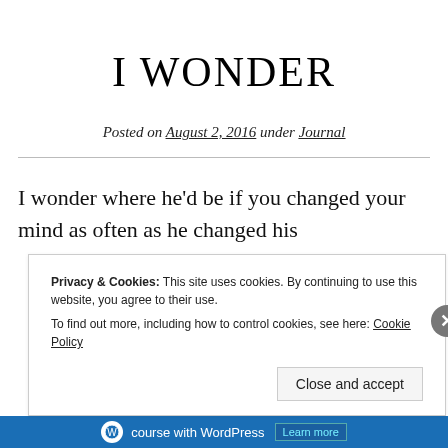I WONDER
Posted on August 2, 2016 under Journal
I wonder where he'd be if you changed your mind as often as he changed his
Privacy & Cookies: This site uses cookies. By continuing to use this website, you agree to their use.
To find out more, including how to control cookies, see here: Cookie Policy
Close and accept
course with WordPress